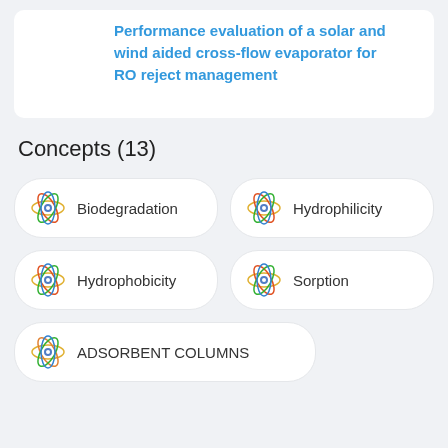Performance evaluation of a solar and wind aided cross-flow evaporator for RO reject management
Concepts (13)
Biodegradation
Hydrophilicity
Hydrophobicity
Sorption
ADSORBENT COLUMNS